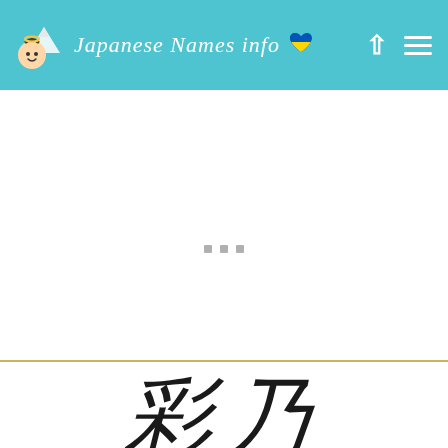Japanese Names info
[Figure (illustration): Three small grey loading/placeholder squares centered in the white content area]
彩乃